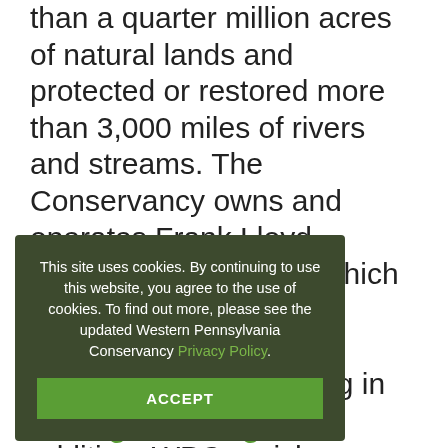than a quarter million acres of natural lands and protected or restored more than 3,000 miles of rivers and streams. The Conservancy owns and operates Frank Lloyd Wright's Fallingwater, which is now on the UNESCO World Heritage List and symbolizes people living in harmony with nature. In addition, WPC enriches our … h 132 … green … e help of … e work of … ervancy is … ort of … more … e.org or
This site uses cookies. By continuing to use this website, you agree to the use of cookies. To find out more, please see the updated Western Pennsylvania Conservancy Privacy Policy.
ACCEPT
Fallingwater.org.